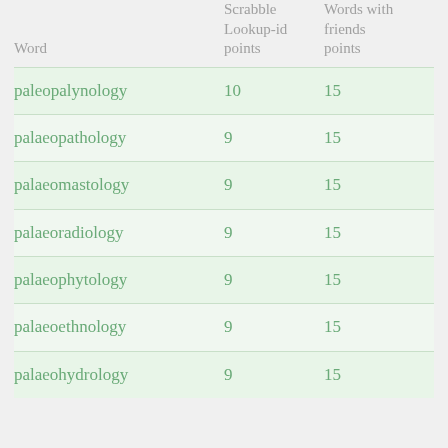| Word | Scrabble Lookup-id points | Words with friends points |
| --- | --- | --- |
| paleopalynology | 10 | 15 |
| palaeopathology | 9 | 15 |
| palaeomastology | 9 | 15 |
| palaeoradiology | 9 | 15 |
| palaeophytology | 9 | 15 |
| palaeoethnology | 9 | 15 |
| palaeohydrology | 9 | 15 |